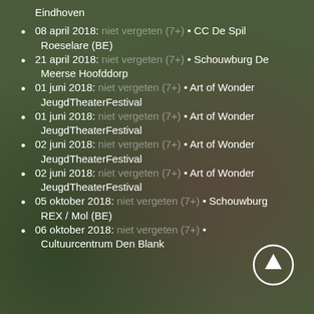Eindhoven
08 april 2018: niet vergeten (7+) • CC De Spil Roeselare (BE)
21 april 2018: niet vergeten (7+) • Schouwburg De Meerse Hoofddorp
01 juni 2018: niet vergeten (7+) • Art of Wonder JeugdTheaterFestival
01 juni 2018: niet vergeten (7+) • Art of Wonder JeugdTheaterFestival
02 juni 2018: niet vergeten (7+) • Art of Wonder JeugdTheaterFestival
02 juni 2018: niet vergeten (7+) • Art of Wonder JeugdTheaterFestival
05 oktober 2018: niet vergeten (7+) • Schouwburg REX / Mol (BE)
06 oktober 2018: niet vergeten (7+) • Cultuurcentrum Den Blank